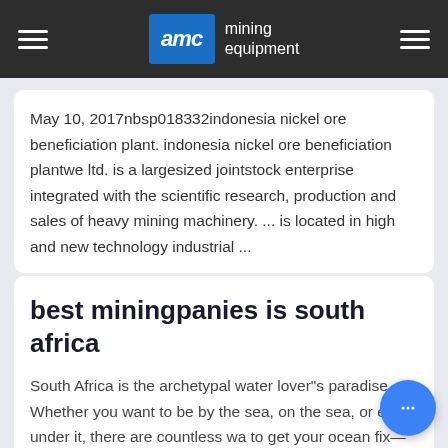AMC mining equipment
May 10, 2017nbsp018332indonesia nickel ore beneficiation plant. indonesia nickel ore beneficiation plantwe ltd. is a largesized jointstock enterprise integrated with the scientific research, production and sales of heavy mining machinery. ... is located in high and new technology industrial ...
best miningpanies is south africa
South Africa is the archetypal water lover"s paradise. Whether you want to be by the sea, on the sea, or even under it, there are countless wa to get your ocean fix—including snorkeling, scuba